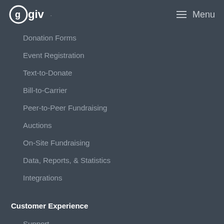Qgiv Menu
Donation Forms
Event Registration
Text-to-Donate
Bill-to-Carrier
Peer-to-Peer Fundraising
Auctions
On-Site Fundraising
Data, Reports, & Statistics
Integrations
Customer Experience
Support
Live Feedback